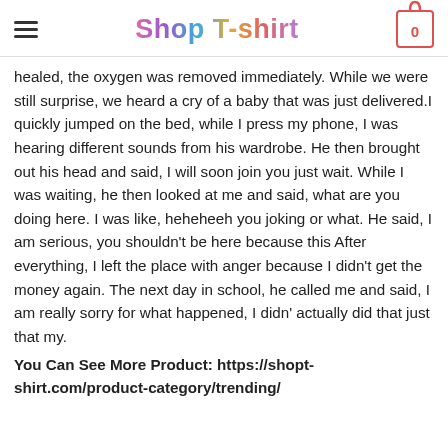Shop T-shirt
healed, the oxygen was removed immediately. While we were still surprise, we heard a cry of a baby that was just delivered.I quickly jumped on the bed, while I press my phone, I was hearing different sounds from his wardrobe. He then brought out his head and said, I will soon join you just wait. While I was waiting, he then looked at me and said, what are you doing here. I was like, heheheeh you joking or what. He said, I am serious, you shouldn't be here because this After everything, I left the place with anger because I didn't get the money again. The next day in school, he called me and said, I am really sorry for what happened, I didn' actually did that just that my.
You Can See More Product: https://shopt-shirt.com/product-category/trending/